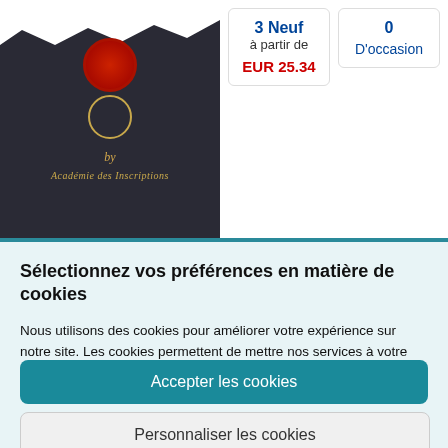[Figure (photo): Book cover showing a dark background with a red wax seal, golden circle ornament, italic 'by' text, and 'Académie des Inscriptions' text in gold. The top of the image has a torn white paper effect revealing the cover beneath.]
3 Neuf
à partir de
EUR 25.34
0
D'occasion
Sélectionnez vos préférences en matière de cookies
Nous utilisons des cookies pour améliorer votre expérience sur notre site. Les cookies permettent de mettre nos services à votre disposition, nous aident à comprendre comment notre site est utilisé afin de pouvoir lui apporter des améliorations et affichent du contenu pertinent dans les annonces.
Accepter les cookies
Personnaliser les cookies